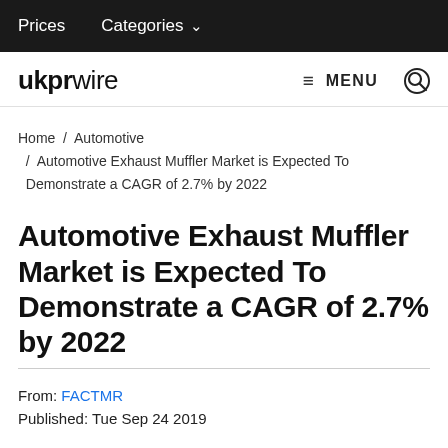Prices   Categories ∨
ukprwire  ≡ MENU  🔍
Home / Automotive / Automotive Exhaust Muffler Market is Expected To Demonstrate a CAGR of 2.7% by 2022
Automotive Exhaust Muffler Market is Expected To Demonstrate a CAGR of 2.7% by 2022
From: FACTMR
Published: Tue Sep 24 2019